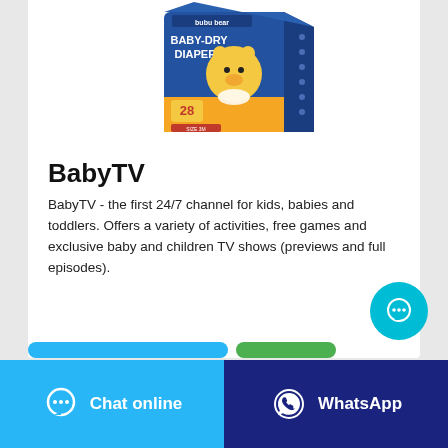[Figure (photo): Product photo of 'bubu bear BABY-DRY DIAPERS' box with cartoon bear mascot, blue packaging, showing 28 count]
BabyTV
BabyTV - the first 24/7 channel for kids, babies and toddlers. Offers a variety of activities, free games and exclusive baby and children TV shows (previews and full episodes).